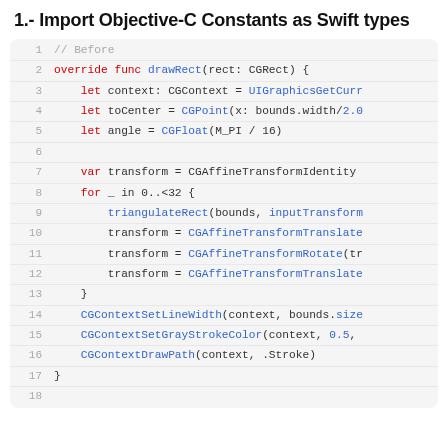1.- Import Objective-C Constants as Swift types
[Figure (screenshot): Code block showing Swift/Objective-C code with line numbers 1-18. Lines show a drawRect function implementation with CGContext, CGPoint, CGFloat, CGAffineTransform operations, and CGContext drawing calls.]